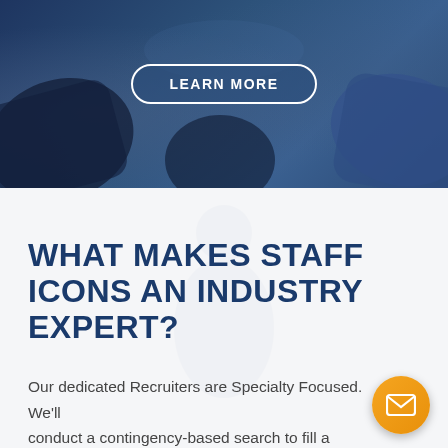[Figure (photo): Dark blue-toned hero image showing people's hands/arms coming together, with a 'LEARN MORE' button overlay in the center]
WHAT MAKES STAFF ICONS AN INDUSTRY EXPERT?
Our dedicated Recruiters are Specialty Focused. We'll conduct a contingency-based search to fill a Permanent "direct hire" Position or deliver a Qualified Professional for a